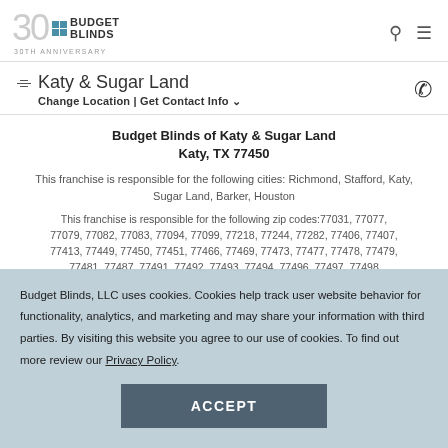[Figure (logo): Budget Blinds 30th Anniversary logo with stylized '30' text and blue squares grid]
Katy & Sugar Land
Change Location | Get Contact Info
Budget Blinds of Katy & Sugar Land
Katy, TX 77450
This franchise is responsible for the following cities: Richmond, Stafford, Katy, Sugar Land, Barker, Houston
This franchise is responsible for the following zip codes:77031, 77077, 77079, 77082, 77083, 77094, 77099, 77218, 77244, 77282, 77406, 77407, 77413, 77449, 77450, 77451, 77466, 77469, 77473, 77477, 77478, 77479, 77481, 77487, 77491, 77492, 77493, 77494, 77496, 77497, 77498
Budget Blinds, LLC uses cookies. Cookies help track user website behavior for functionality, analytics, and marketing and may share your information with third parties. By visiting this website you agree to our use of cookies. To find out more review our Privacy Policy.
ACCEPT